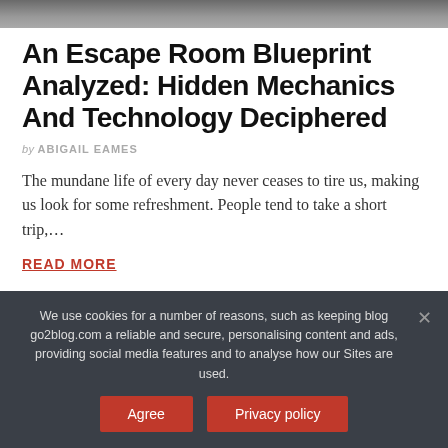[Figure (photo): Partial photo strip at top of page, showing a dark blurred image (likely escape room or similar scene)]
An Escape Room Blueprint Analyzed: Hidden Mechanics And Technology Deciphered
by ABIGAIL EAMES
The mundane life of every day never ceases to tire us, making us look for some refreshment. People tend to take a short trip,…
READ MORE
We use cookies for a number of reasons, such as keeping blog go2blog.com a reliable and secure, personalising content and ads, providing social media features and to analyse how our Sites are used.